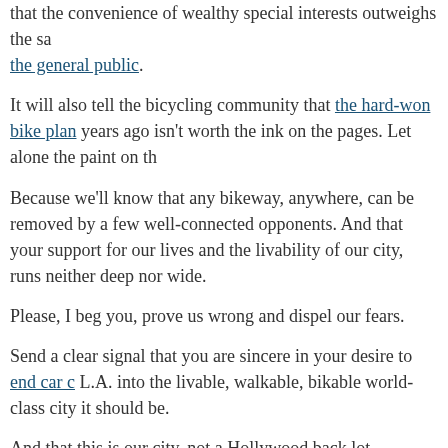that the convenience of wealthy special interests outweighs the safety of the general public.
It will also tell the bicycling community that the hard-won bike plan years ago isn't worth the ink on the pages. Let alone the paint on th…
Because we'll know that any bikeway, anywhere, can be removed by a few well-connected opponents. And that your support for our lives and the livability of our city, runs neither deep nor wide.
Please, I beg you, prove us wrong and dispel our fears.
Send a clear signal that you are sincere in your desire to end car c… L.A. into the livable, walkable, bikable world-class city it should be.
And that this is our city, not a Hollywood back lot.
Because Hollywood will survive, and thrive, with or without these b…
We, and the city we love, may not.
Share this:
Facebook  Twitter  More